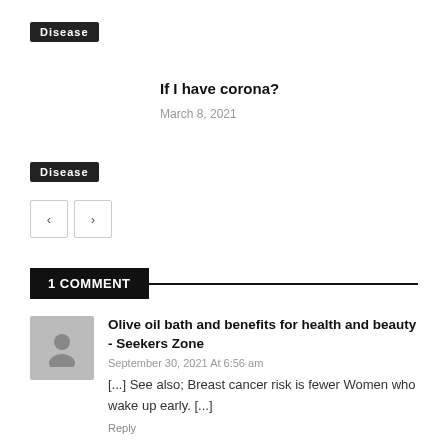Disease
If I have corona?
March 8, 2021
Disease
< >
1 COMMENT
Olive oil bath and benefits for health and beauty - Seekers Zone
September 30, 2021 At 6:56 am
[...] See also; Breast cancer risk is fewer Women who wake up early. [...]
Reply